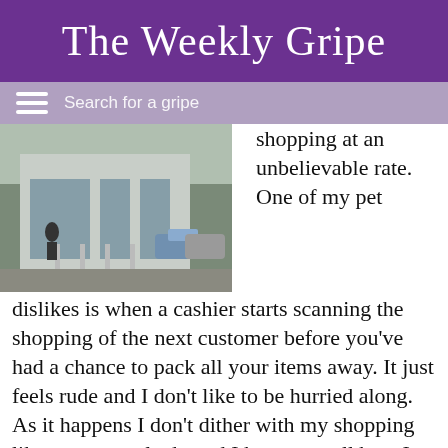The Weekly Gripe
Search for a gripe
[Figure (photo): Exterior of an Aldi supermarket with parked cars and people outside]
shopping at an unbelievable rate.  One of my pet dislikes is when a cashier starts scanning the shopping of the next customer before you've had a chance to pack all your items away.  It just feels rude and I don't like to be hurried along.  As it happens I don't dither with my shopping like some people do and I have a small bag.  I usually only buy a handful of things but even with that I can't keep up with the Aldi cashiers when they're on a mission!
I get the impression they don't really want you to pack your bag at the checkout either, preferring instead that you grab everything and go pack your bags in the area just